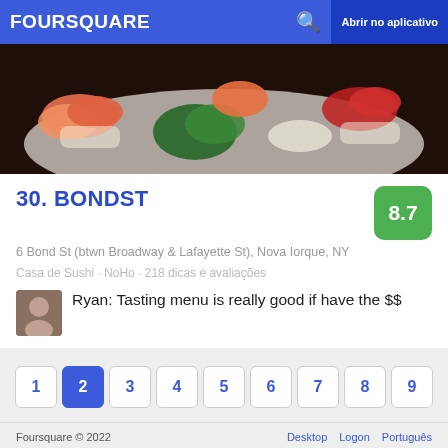FOURSQUARE  🔍  Abrir no aplicativo
[Figure (photo): Photo of sushi platter with salmon nigiri, tuna rolls, and other sushi pieces on a white plate, dark background]
30. BONDST
6 Bond St (btwn Broadway & Lafayette St), Nova Iorque, NY
Casa de Sushi · NoHo · 218 dicas e avaliações
Ryan: Tasting menu is really good if have the $$
1 2 3 4 5 6 7 8 9
Foursquare © 2022    Desktop  Logon  Português